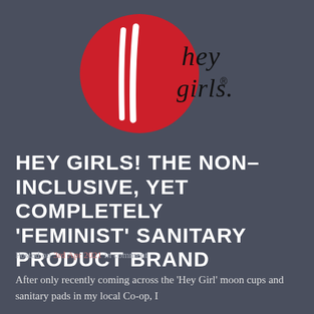[Figure (logo): Hey Girls brand logo: large red circle with white stylized double-line mark inside, and cursive/script text 'hey girls.' to the right with a registered trademark symbol]
HEY GIRLS! THE NON-INCLUSIVE, YET COMPLETELY 'FEMINIST' SANITARY PRODUCT BRAND
Posted on 3rd Apr 2021 in comment
After only recently coming across the 'Hey Girl' moon cups and sanitary pads in my local Co-op, I